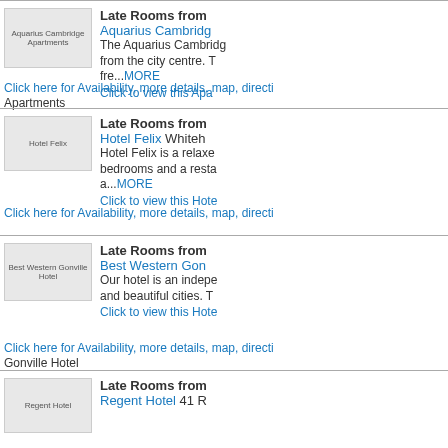[Figure (photo): Aquarius Cambridge Apartments thumbnail image]
Late Rooms from
Aquarius Cambridge
The Aquarius Cambridge is from the city centre. T fre...MORE
Click to view this Apartments
Click here for Availability, more details, map, directi Apartments
[Figure (photo): Hotel Felix thumbnail image]
Late Rooms from
Hotel Felix Whiteh
Hotel Felix is a relaxe bedrooms and a resta a...MORE
Click to view this Hotel
Click here for Availability, more details, map, directi
[Figure (photo): Best Western Gonville Hotel thumbnail image]
Late Rooms from
Best Western Gon
Our hotel is an indepe and beautiful cities. T
Click to view this Hote
Click here for Availability, more details, map, directi Gonville Hotel
[Figure (photo): Regent Hotel thumbnail image]
Late Rooms from
Regent Hotel 41 R